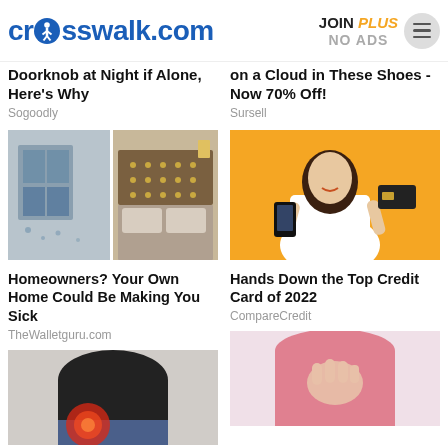[Figure (logo): crosswalk.com logo with walking person icon in blue]
JOIN PLUS NO ADS
Doorknob at Night if Alone, Here's Why
Sogoodly
on a Cloud in These Shoes - Now 70% Off!
Sursell
[Figure (photo): Two-panel image showing a bedroom with window condensation on left and a luxury made bed on the right]
Homeowners? Your Own Home Could Be Making You Sick
TheWalletguru.com
[Figure (photo): Woman smiling on orange background holding phone and credit card]
Hands Down the Top Credit Card of 2022
CompareCredit
[Figure (photo): Person wearing black top with back/hip pain highlighted in red circle]
[Figure (photo): Person in pink top with hand on chest]